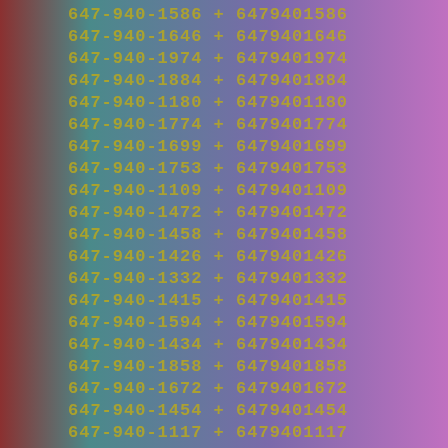647-940-1586 + 6479401586
647-940-1646 + 6479401646
647-940-1974 + 6479401974
647-940-1884 + 6479401884
647-940-1180 + 6479401180
647-940-1774 + 6479401774
647-940-1699 + 6479401699
647-940-1753 + 6479401753
647-940-1109 + 6479401109
647-940-1472 + 6479401472
647-940-1458 + 6479401458
647-940-1426 + 6479401426
647-940-1332 + 6479401332
647-940-1415 + 6479401415
647-940-1594 + 6479401594
647-940-1434 + 6479401434
647-940-1858 + 6479401858
647-940-1672 + 6479401672
647-940-1454 + 6479401454
647-940-1117 + 6479401117
647-940-1780 + 6479401780
647-940-1052 + 6479401052
647-940-1488 + 6479401488